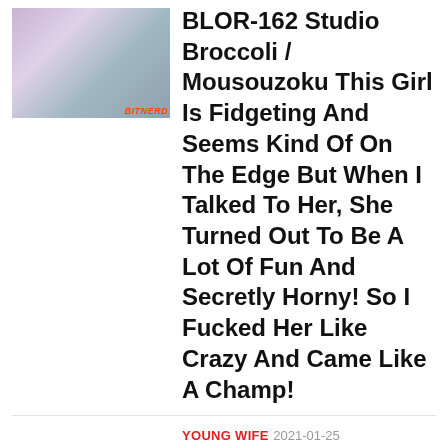[Figure (photo): Thumbnail cover image for BLOR-162 product]
BLOR-162 Studio Broccoli / Mousouzoku This Girl Is Fidgeting And Seems Kind Of On The Edge But When I Talked To Her, She Turned Out To Be A Lot Of Fun And Secretly Horny! So I Fucked Her Like Crazy And Came Like A Champ!
YOUNG WIFE  2021-01-25
[Figure (photo): Thumbnail cover image for BLOR-161 product]
BLOR-161 Studio Broccoli / Mousouzoku This Cute Thirty-Something Lady Works At A D**gstore And She Turned Out To Be A Soft And Gentle...